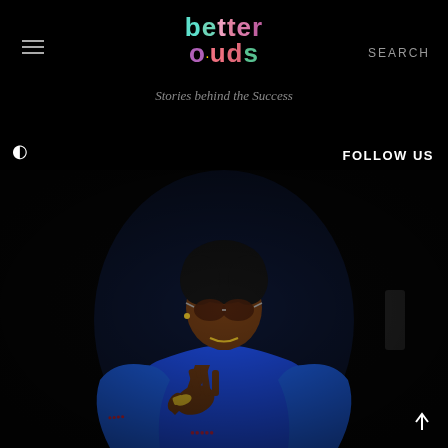better ouds — Stories behind the Success
SEARCH
FOLLOW US
[Figure (photo): Young man wearing blue hoodie with red lettering and round sunglasses, making a hand gesture against a dark background]
↑